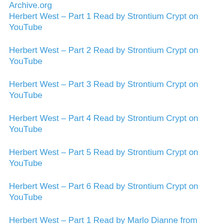Archive.org
Herbert West – Part 1 Read by Strontium Crypt on YouTube
Herbert West – Part 2 Read by Strontium Crypt on YouTube
Herbert West – Part 3 Read by Strontium Crypt on YouTube
Herbert West – Part 4 Read by Strontium Crypt on YouTube
Herbert West – Part 5 Read by Strontium Crypt on YouTube
Herbert West – Part 6 Read by Strontium Crypt on YouTube
Herbert West – Part 1 Read by Marlo Dianne from Archive.org
Herbert West – Part 2 Read by Marlo Dianne from Archive.org